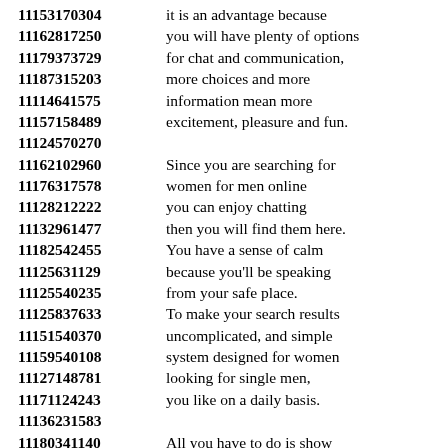11153170304 it is an advantage because
11162817250 you will have plenty of options
11179373729 for chat and communication,
11187315203 more choices and more
11114641575 information mean more
11157158489 excitement, pleasure and fun.
11124570270
11162102960 Since you are searching for
11176317578 women for men online
11128212222 you can enjoy chatting
11132961477 then you will find them here.
11182542455 You have a sense of calm
11125631129 because you'll be speaking
11125540235 from your safe place.
11125837633 To make your search results
11151540370 uncomplicated, and simple
11159540108 system designed for women
11127148781 looking for single men,
11171124243 you like on a daily basis.
11136231583
11180341140 All you have to do is show
11178196630 the description and take
11184782564 a look at their profiles
11159930287 provided on the platform for
11169894188 free and start talking to
11179889068 the...